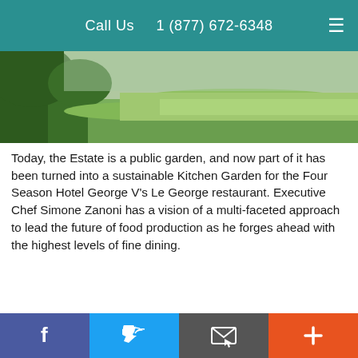Call Us   1 (877) 672-6348
[Figure (photo): Outdoor landscape photo showing green grass fields and trees, partial view from website header area]
Today, the Estate is a public garden, and now part of it has been turned into a sustainable Kitchen Garden for the Four Season Hotel George V's Le George restaurant. Executive Chef Simone Zanoni has a vision of a multi-faceted approach to lead the future of food production as he forges ahead with the highest levels of fine dining.
[Figure (photo): Photo of a man (presumably Chef Simone Zanoni) with glasses, curly hair, outdoors with trees and greenery in background]
f  [Twitter bird]  [Email/envelope icon]  +